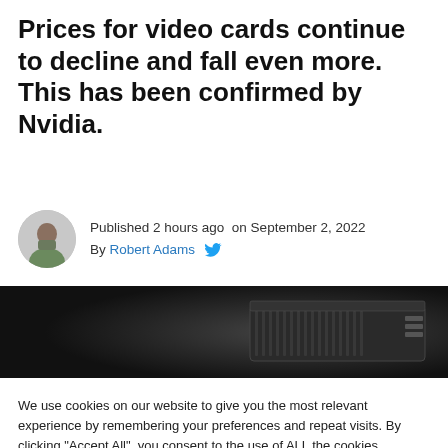Prices for video cards continue to decline and fall even more. This has been confirmed by Nvidia.
Published 2 hours ago on September 2, 2022
By Robert Adams
[Figure (photo): Dark product photo of a GPU/video card against a black background]
We use cookies on our website to give you the most relevant experience by remembering your preferences and repeat visits. By clicking "Accept All", you consent to the use of ALL the cookies. However, you may visit "Cookie Settings" to provide a controlled consent. Read More